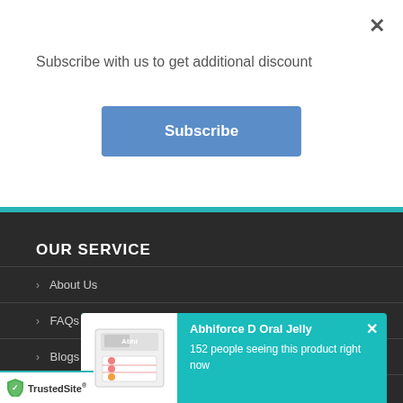Subscribe with us to get additional discount
Subscribe
OUR SERVICE
> About Us
> FAQs
> Blogs
> Disclaimer
> Te...
[Figure (screenshot): Popup notification for Abhiforce D Oral Jelly showing product image and text '152 people seeing this product right now']
[Figure (logo): TrustedSite badge with checkmark shield logo]